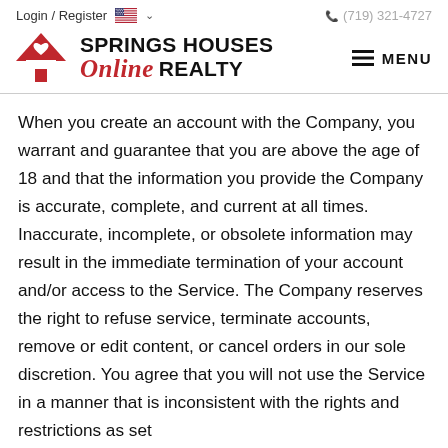Login / Register  (719) 321-4727
[Figure (logo): Springs Houses Online Realty logo with red house/mountain icon. Text reads SPRINGS HOUSES Online REALTY. Menu button with hamburger icon on the right.]
When you create an account with the Company, you warrant and guarantee that you are above the age of 18 and that the information you provide the Company is accurate, complete, and current at all times. Inaccurate, incomplete, or obsolete information may result in the immediate termination of your account and/or access to the Service. The Company reserves the right to refuse service, terminate accounts, remove or edit content, or cancel orders in our sole discretion. You agree that you will not use the Service in a manner that is inconsistent with the rights and restrictions as set